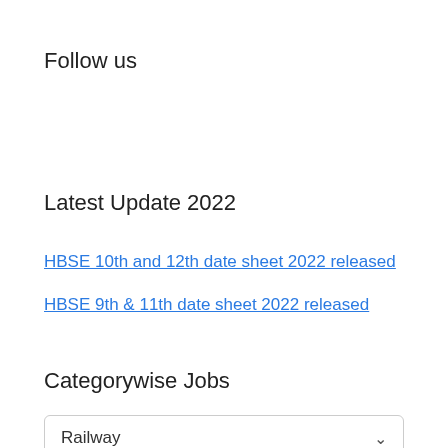Follow us
Latest Update 2022
HBSE 10th and 12th date sheet 2022 released
HBSE 9th & 11th date sheet 2022 released
Categorywise Jobs
Railway